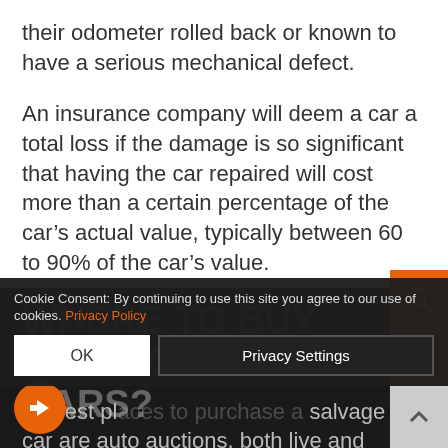their odometer rolled back or known to have a serious mechanical defect.
An insurance company will deem a car a total loss if the damage is so significant that having the car repaired will cost more than a certain percentage of the car’s actual value, typically between 60 to 90% of the car’s value.
This kind of car will be given a salvage certificate and cannot be registered or driven.
WHERE TO BUY SALVAGE CARS?
he best pl... of salvage car are auto auctions, both live and online, that
Cookie Consent: By continuing to use this site you agree to our use of cookies. Privacy Policy
OK
Privacy Settings